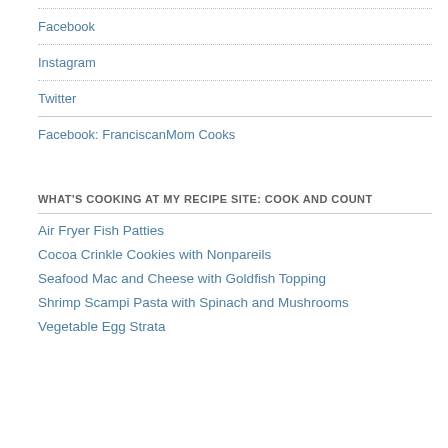Facebook
Instagram
Twitter
Facebook: FranciscanMom Cooks
WHAT'S COOKING AT MY RECIPE SITE: COOK AND COUNT
Air Fryer Fish Patties
Cocoa Crinkle Cookies with Nonpareils
Seafood Mac and Cheese with Goldfish Topping
Shrimp Scampi Pasta with Spinach and Mushrooms
Vegetable Egg Strata